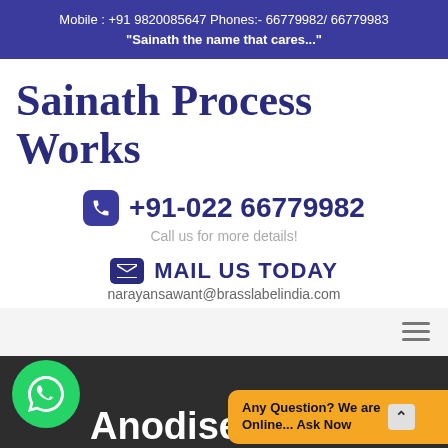Mobile : +91 9820085647 Phones:- 66779982/ 66779983 "Sainath the name that cares..."
Sainath Process Works
+91-022 66779982
Call us for more details!
MAIL US TODAY
narayansawant@brasslabelindia.com
Anodised Na
Any Question? We are Online... Ask Now